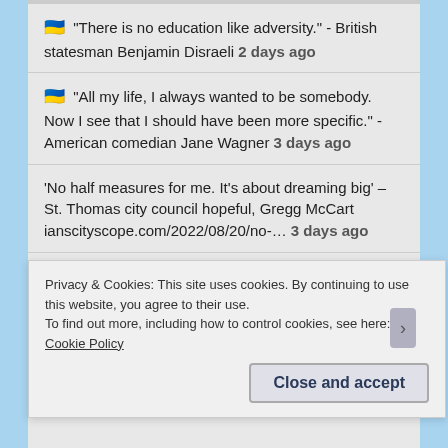"There is no education like adversity." - British statesman Benjamin Disraeli 2 days ago
"All my life, I always wanted to be somebody. Now I see that I should have been more specific." - American comedian Jane Wagner 3 days ago
'No half measures for me. It's about dreaming big' – St. Thomas city council hopeful, Gregg McCart ianscityscope.com/2022/08/20/no-… 3 days ago
TODAY'S MENU FEATURES
Privacy & Cookies: This site uses cookies. By continuing to use this website, you agree to their use.
To find out more, including how to control cookies, see here: Cookie Policy
Close and accept